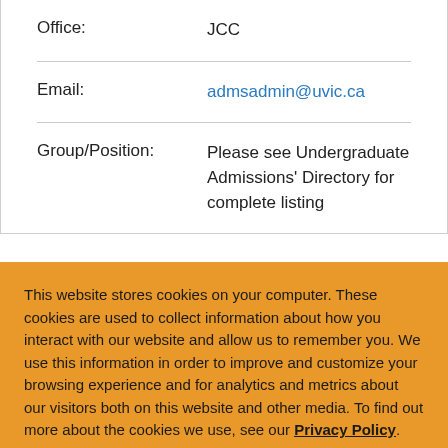| Office: | JCC |
| Email: | admsadmin@uvic.ca |
| Group/Position: | Please see Undergraduate Admissions' Directory for complete listing |
This website stores cookies on your computer. These cookies are used to collect information about how you interact with our website and allow us to remember you. We use this information in order to improve and customize your browsing experience and for analytics and metrics about our visitors both on this website and other media. To find out more about the cookies we use, see our Privacy Policy.
Close